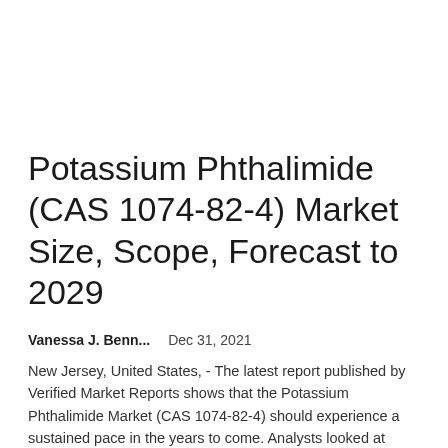Potassium Phthalimide (CAS 1074-82-4) Market Size, Scope, Forecast to 2029
Vanessa J. Benn...   Dec 31, 2021
New Jersey, United States, - The latest report published by Verified Market Reports shows that the Potassium Phthalimide Market (CAS 1074-82-4) should experience a sustained pace in the years to come. Analysts looked at market drivers,...